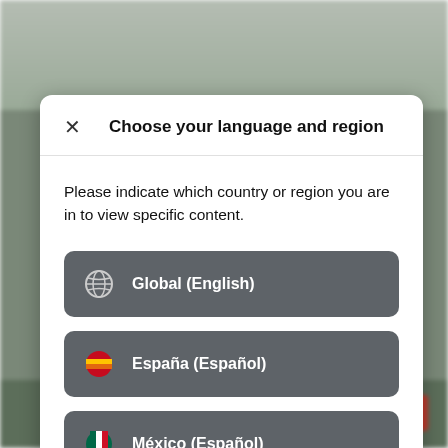[Figure (screenshot): Blurred background showing a mobile app interface with greenish/dark tones and a red button at the bottom]
Choose your language and region
Please indicate which country or region you are in to view specific content.
Global (English)
España (Español)
México (Español)